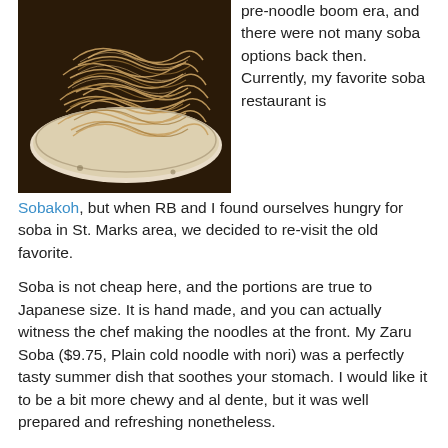[Figure (photo): Close-up photo of a plate of soba noodles (tan/beige buckwheat noodles piled on a plate)]
pre-noodle boom era, and there were not many soba options back then. Currently, my favorite soba restaurant is Sobakoh, but when RB and I found ourselves hungry for soba in St. Marks area, we decided to re-visit the old favorite.
Soba is not cheap here, and the portions are true to Japanese size. It is hand made, and you can actually witness the chef making the noodles at the front. My Zaru Soba ($9.75, Plain cold noodle with nori) was a perfectly tasty summer dish that soothes your stomach. I would like it to be a bit more chewy and al dente, but it was well prepared and refreshing nonetheless.
RB selected the Cold Chirashi Soba ($15, tiny shrimp tempura, egg omelet, shiitake, friend bean curd and fish cake) from the seasonal menu. It was beautifully crafted and presented, and it looked like a pretty Japanese bento box.